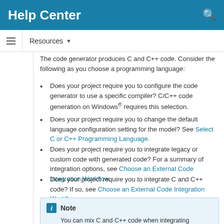Help Center
The code generator produces C and C++ code. Consider the following as you choose a programming language:
Does your project require you to configure the code generator to use a specific compiler? C/C++ code generation on Windows® requires this selection.
Does your project require you to change the default language configuration setting for the model? See Select C or C++ Programming Language.
Does your project require you to integrate legacy or custom code with generated code? For a summary of integration options, see Choose an External Code Integration Workflow.
Does your project require you to integrate C and C++ code? If so, see Choose an External Code Integration Workflow.
Note
You can mix C and C++ code when integrating generated code with custom code. However, you must be aware of the differences between C and